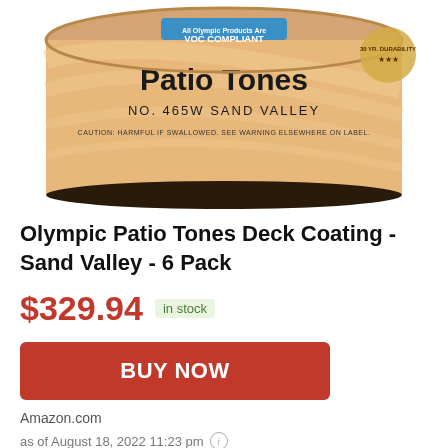[Figure (photo): Top portion of an Olympic Patio Tones paint can, Sand Valley color No. 465W, with VOC Compliant badge and caution text on label.]
Olympic Patio Tones Deck Coating - Sand Valley - 6 Pack
$329.94 in stock
BUY NOW
Amazon.com
as of August 18, 2022 11:23 pm
Features